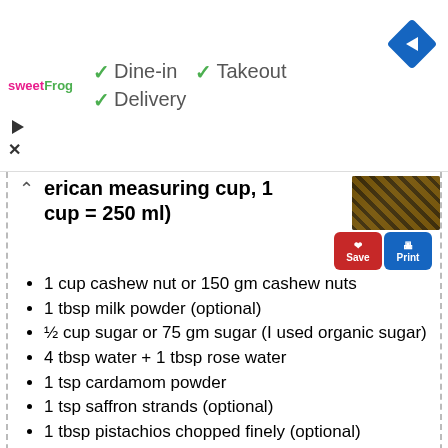[Figure (screenshot): Ad banner showing sweetFrog logo with Dine-in, Takeout, Delivery checkmarks and a navigation diamond icon]
erican measuring cup, 1 cup = 250 ml)
[Figure (photo): Thumbnail food photo, dark background with golden/brown tones]
1 cup cashew nut or 150 gm cashew nuts
1 tbsp milk powder (optional)
½ cup sugar or 75 gm sugar (I used organic sugar)
4 tbsp water + 1 tbsp rose water
1 tsp cardamom powder
1 tsp saffron strands (optional)
1 tbsp pistachios chopped finely (optional)
some oil or ghee for greasing the tray ( I used ghee)
How to make the recipe?
1. If you are using saffron just dry roast them for